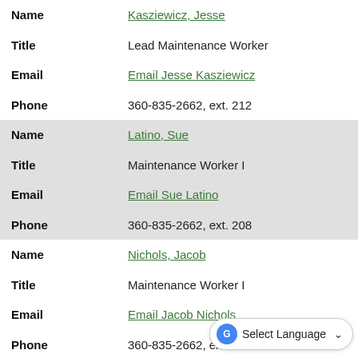| Field | Value |
| --- | --- |
| Name | Kasziewicz, Jesse |
| Title | Lead Maintenance Worker |
| Email | Email Jesse Kasziewicz |
| Phone | 360-835-2662, ext. 212 |
| Name | Latino, Sue |
| Title | Maintenance Worker I |
| Email | Email Sue Latino |
| Phone | 360-835-2662, ext. 208 |
| Name | Nichols, Jacob |
| Title | Maintenance Worker I |
| Email | Email Jacob Nichols |
| Phone | 360-835-2662, ext. |
| Name | Porter, Dean |